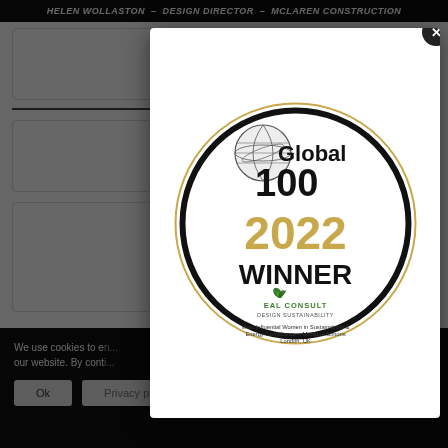Helen Wollaston – Design Director – McLaren Construction
E...
All. I am plea... Planning Applic... a resolution...
We use cookies to e... our website. By cont...
[Figure (logo): Global 100 2022 Winner badge for EAL Consult – Most Influential Women in Sustainability & Energy Compliance – Monique Simons, London, UK]